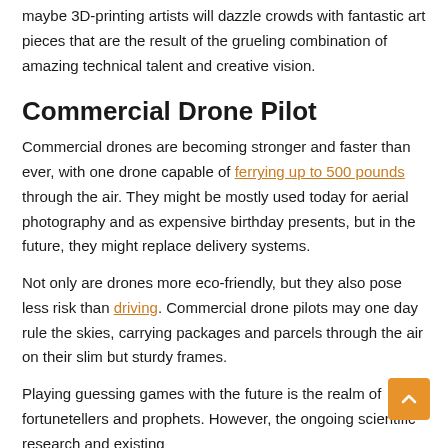maybe 3D-printing artists will dazzle crowds with fantastic art pieces that are the result of the grueling combination of amazing technical talent and creative vision.
Commercial Drone Pilot
Commercial drones are becoming stronger and faster than ever, with one drone capable of ferrying up to 500 pounds through the air. They might be mostly used today for aerial photography and as expensive birthday presents, but in the future, they might replace delivery systems.
Not only are drones more eco-friendly, but they also pose less risk than driving. Commercial drone pilots may one day rule the skies, carrying packages and parcels through the air on their slim but sturdy frames.
Playing guessing games with the future is the realm of fortunetellers and prophets. However, the ongoing scientific research and existing